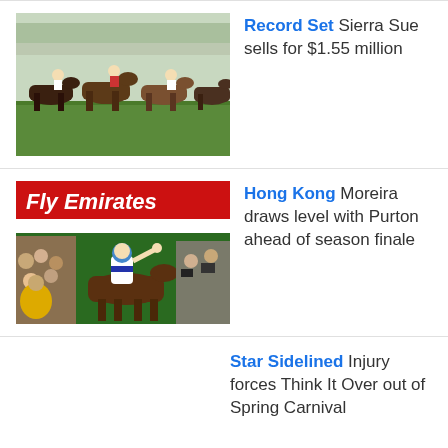[Figure (photo): Horse racing action shot showing multiple horses and jockeys racing on a grass track]
Record Set Sierra Sue sells for $1.55 million
[Figure (photo): Jockey in white silks waving to crowd at Hong Kong racecourse with Fly Emirates banner, surrounded by crowd and cameras]
Hong Kong Moreira draws level with Purton ahead of season finale
Star Sidelined Injury forces Think It Over out of Spring Carnival